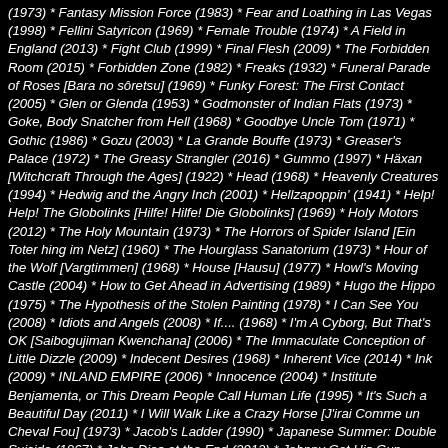(1973) * Fantasy Mission Force (1983) * Fear and Loathing in Las Vegas (1998) * Fellini Satyricon (1969) * Female Trouble (1974) * A Field in England (2013) * Fight Club (1999) * Final Flesh (2009) * The Forbidden Room (2015) * Forbidden Zone (1982) * Freaks (1932) * Funeral Parade of Roses [Bara no sôretsu] (1969) * Funky Forest: The First Contact (2005) * Glen or Glenda (1953) * Godmonster of Indian Flats (1973) * Goke, Body Snatcher from Hell (1968) * Goodbye Uncle Tom (1971) * Gothic (1986) * Gozu (2003) * La Grande Bouffe (1973) * Greaser's Palace (1972) * The Greasy Strangler (2016) * Gummo (1997) * Häxan [Witchcraft Through the Ages] (1922) * Head (1968) * Heavenly Creatures (1994) * Hedwig and the Angry Inch (2001) * Hellzapoppin' (1941) * Help! Help! The Globolinks [Hilfe! Hilfe! Die Globolinks] (1969) * Holy Motors (2012) * The Holy Mountain (1973) * The Horrors of Spider Island [Ein Toter hing im Netz] (1960) * The Hourglass Sanatorium (1973) * Hour of the Wolf [Vargtimmen] (1968) * House [Hausu] (1977) * Howl's Moving Castle (2004) * How to Get Ahead in Advertising (1989) * Hugo the Hippo (1975) * The Hypothesis of the Stolen Painting (1978) * I Can See You (2008) * Idiots and Angels (2008) * If.... (1968) * I'm A Cyborg, But That's OK [Saibogujiman Kwenchana] (2006) * The Immaculate Conception of Little Dizzle (2009) * Indecent Desires (1968) * Inherent Vice (2014) * Ink (2009) * INLAND EMPIRE (2006) * Innocence (2004) * Institute Benjamenta, or This Dream People Call Human Life (1995) * It's Such a Beautiful Day (2011) * I Will Walk Like a Crazy Horse [J'irai Comme un Cheval Fou] (1973) * Jacob's Ladder (1990) * Japanese Summer: Double Suicide (1967) * John Dies at the End (2012) * Johnny Got His Gun (1971) * Keyhole (2011) * King, Bye-Bye (1986) * Kontroll (2003) * Yor, Fo-Ha-th (2004)